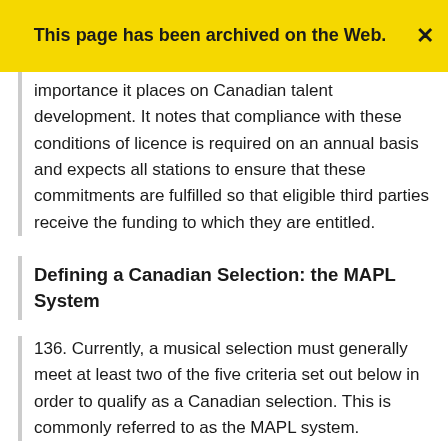This page has been archived on the Web.
importance it places on Canadian talent development. It notes that compliance with these conditions of licence is required on an annual basis and expects all stations to ensure that these commitments are fulfilled so that eligible third parties receive the funding to which they are entitled.
Defining a Canadian Selection: the MAPL System
136. Currently, a musical selection must generally meet at least two of the five criteria set out below in order to qualify as a Canadian selection. This is commonly referred to as the MAPL system.